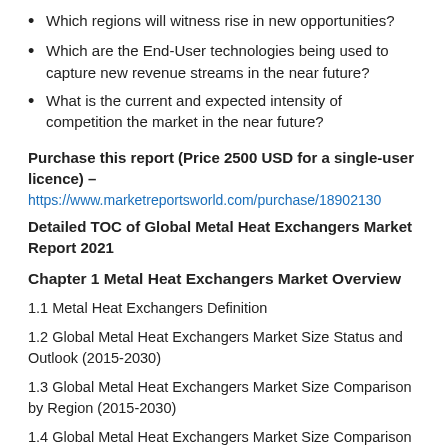Which regions will witness rise in new opportunities?
Which are the End-User technologies being used to capture new revenue streams in the near future?
What is the current and expected intensity of competition the market in the near future?
Purchase this report (Price 2500 USD for a single-user licence) –
https://www.marketreportsworld.com/purchase/18902130
Detailed TOC of Global Metal Heat Exchangers Market Report 2021
Chapter 1 Metal Heat Exchangers Market Overview
1.1 Metal Heat Exchangers Definition
1.2 Global Metal Heat Exchangers Market Size Status and Outlook (2015-2030)
1.3 Global Metal Heat Exchangers Market Size Comparison by Region (2015-2030)
1.4 Global Metal Heat Exchangers Market Size Comparison by Type (2015-2030)